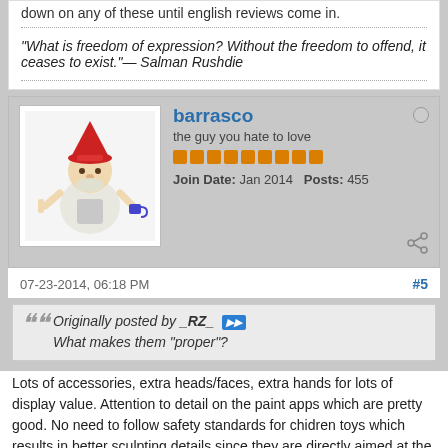down on any of these until english reviews come in.
"What is freedom of expression? Without the freedom to offend, it ceases to exist."— Salman Rushdie
barrasco
the guy you hate to love
Join Date: Jan 2014   Posts: 455
07-23-2014, 06:18 PM
#5
Originally posted by _RZ_  What makes them "proper"?
Lots of accessories, extra heads/faces, extra hands for lots of display value. Attention to detail on the paint apps which are pretty good. No need to follow safety standards for chidren toys which results in better sculpting details since they are directly aimed at the adult collector market. Absolutely no usage of such things as gummy plastic which simply ruins things like accessories.